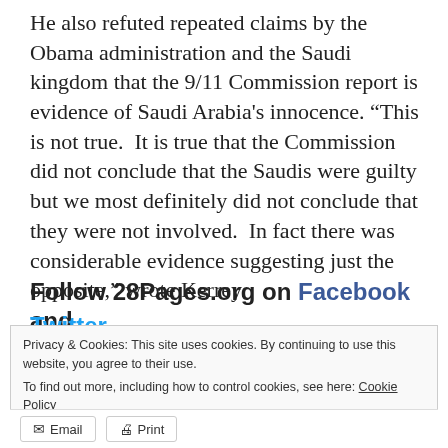He also refuted repeated claims by the Obama administration and the Saudi kingdom that the 9/11 Commission report is evidence of Saudi Arabia's innocence. “This is not true.  It is true that the Commission did not conclude that the Saudis were guilty but we most definitely did not conclude that they were not involved.  In fact there was considerable evidence suggesting just the opposite,” wrote Kerrey.
Follow 28Pages.org on Facebook and Twitter
Privacy & Cookies: This site uses cookies. By continuing to use this website, you agree to their use.
To find out more, including how to control cookies, see here: Cookie Policy
Close and accept
Email  Print